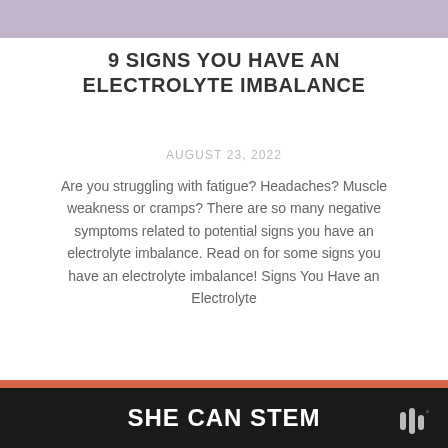[Figure (other): Light purple/lavender banner at the top of the page]
9 SIGNS YOU HAVE AN ELECTROLYTE IMBALANCE
AUGUST 23, 2022
Are you struggling with fatigue? Headaches? Muscle weakness or cramps? There are so many negative symptoms related to potential signs you have an electrolyte imbalance. Read on for some signs you have an electrolyte imbalance! Signs You Have an Electrolyte
[Figure (illustration): Orange/terracotta background block with large open quote marks and partial text 'Life doesn't get better' in dark serif font. Overlaid with a 'What's Next Blog' widget on the right side. Social share buttons (heart with 17 count, share icon) on the right edge.]
SHE CAN STEM